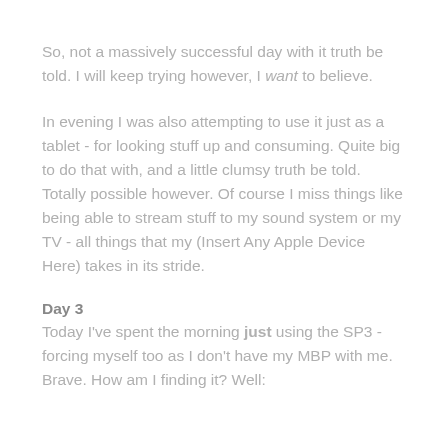So, not a massively successful day with it truth be told. I will keep trying however, I want to believe.
In evening I was also attempting to use it just as a tablet - for looking stuff up and consuming. Quite big to do that with, and a little clumsy truth be told. Totally possible however. Of course I miss things like being able to stream stuff to my sound system or my TV - all things that my (Insert Any Apple Device Here) takes in its stride.
Day 3
Today I've spent the morning just using the SP3 - forcing myself too as I don't have my MBP with me. Brave. How am I finding it? Well: